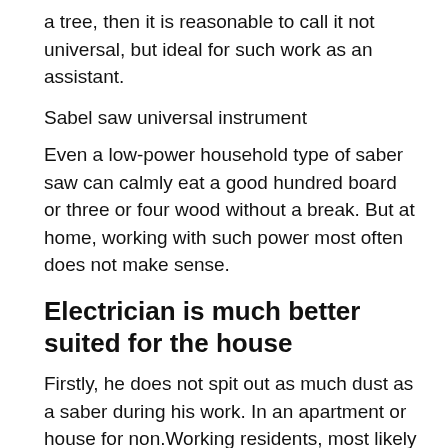a tree, then it is reasonable to call it not universal, but ideal for such work as an assistant.
Sabel saw universal instrument
Even a low-power household type of saber saw can calmly eat a good hundred board or three or four wood without a break. But at home, working with such power most often does not make sense.
Electrician is much better suited for the house
Firstly, he does not spit out as much dust as a saber during his work. In an apartment or house for non.Working residents, most likely this factor will be even more important than the final